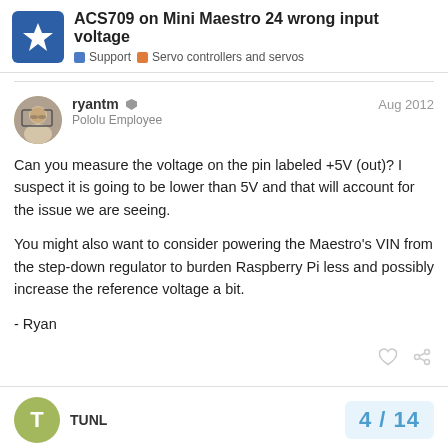ACS709 on Mini Maestro 24 wrong input voltage | Support | Servo controllers and servos
ryantm | Pololu Employee | Aug 2012
Can you measure the voltage on the pin labeled +5V (out)? I suspect it is going to be lower than 5V and that will account for the issue we are seeing.

You might also want to consider powering the Maestro's VIN from the step-down regulator to burden Raspberry Pi less and possibly increase the reference voltage a bit.

- Ryan
TUNL | 4 / 14